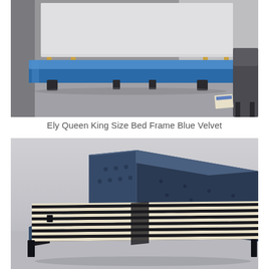[Figure (photo): Photo of a blue velvet bed frame side/foot view in a bedroom setting, with gold-legged furniture in the background, on a grey carpet floor.]
Ely Queen King Size Bed Frame Blue Velvet
[Figure (photo): Photo of a dark navy blue upholstered bed frame with tufted headboard and wooden slatted base, shown at an angle on a grey background.]